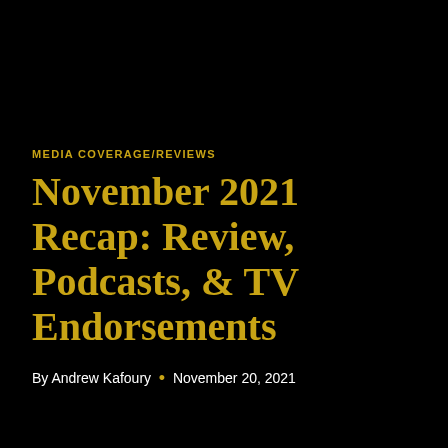MEDIA COVERAGE/REVIEWS
November 2021 Recap: Review, Podcasts, & TV Endorsements
By Andrew Kafoury • November 20, 2021